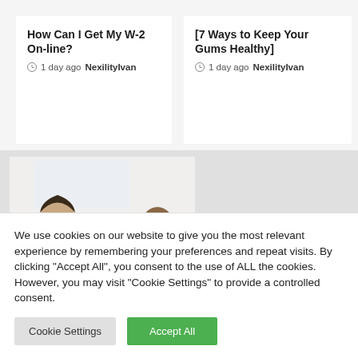How Can I Get My W-2 On-line?
1 day ago  NexilityIvan
[7 Ways to Keep Your Gums Healthy]
1 day ago  NexilityIvan
[Figure (photo): Two people shaking hands across a table, a woman on the left smiling and a man on the right, in an office setting]
We use cookies on our website to give you the most relevant experience by remembering your preferences and repeat visits. By clicking "Accept All", you consent to the use of ALL the cookies. However, you may visit "Cookie Settings" to provide a controlled consent.